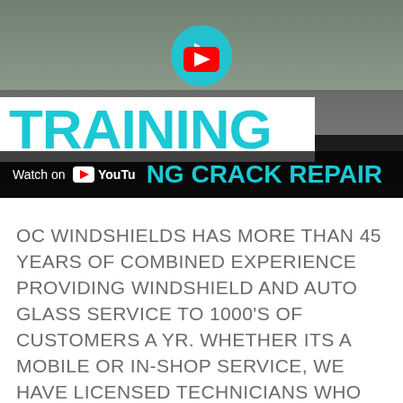[Figure (screenshot): YouTube video thumbnail showing a car windshield/dashboard view with a road ahead. The video title reads 'TRAINING' in large teal text on a white bar, and 'NG CRACK REPAIR' visible on the right. A YouTube play button is centered at top. A 'Watch on YouTube' bar appears at the bottom of the thumbnail.]
OC WINDSHIELDS HAS MORE THAN 45 YEARS OF COMBINED EXPERIENCE PROVIDING WINDSHIELD AND AUTO GLASS SERVICE TO 1000'S OF CUSTOMERS A YR. WHETHER ITS A MOBILE OR IN-SHOP SERVICE, WE HAVE LICENSED TECHNICIANS WHO CAN GET THE JOB CARRIED OUT PROPER IN A WELL TIMED MANNER. EVERY JOB OR SERVICE